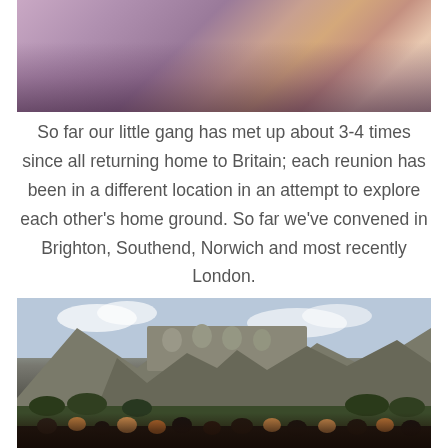[Figure (photo): Group photo of people sitting together at a table with drinks, purple/pink toned lighting]
So far our little gang has met up about 3-4 times since all returning home to Britain; each reunion has been in a different location in an attempt to explore each other's home ground. So far we've convened in Brighton, Southend, Norwich and most recently London.
[Figure (photo): Photo of Mount Rushmore with a crowd of visitors in the foreground and forested hills and cloudy sky in the background]